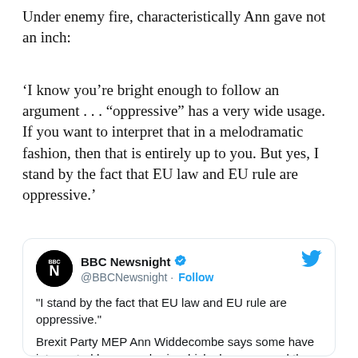Under enemy fire, characteristically Ann gave not an inch:
‘I know you’re bright enough to follow an argument . . . “oppressive” has a very wide usage. If you want to interpret that in a melodramatic fashion, then that is entirely up to you. But yes, I stand by the fact that EU law and EU rule are oppressive.’
[Figure (screenshot): Tweet from BBC Newsnight (@BBCNewsnight) with Follow button and Twitter bird logo. Tweet text reads: "I stand by the fact that EU law and EU rule are oppressive." Brexit Party MEP Ann Widdecombe says some have interpreted her speech - in which she compared the UK leaving the EU to "slaves" rising up "against their owners" - in]